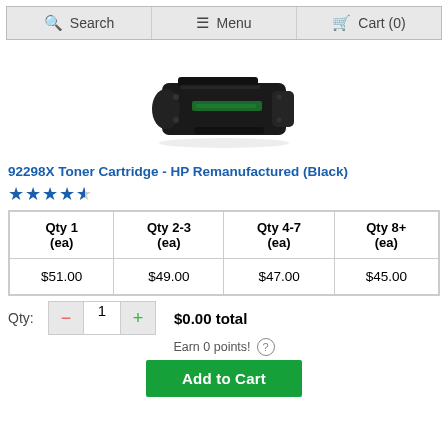Search | Menu | Cart (0)
[Figure (photo): HP 92298X black toner cartridge product photo on white background]
92298X Toner Cartridge - HP Remanufactured (Black)
★★★★½ (4.5 stars rating)
| Qty 1 (ea) | Qty 2-3 (ea) | Qty 4-7 (ea) | Qty 8+ (ea) |
| --- | --- | --- | --- |
| $51.00 | $49.00 | $47.00 | $45.00 |
Qty: − 1 + $0.00 total
Earn 0 points! ?
Add to Cart